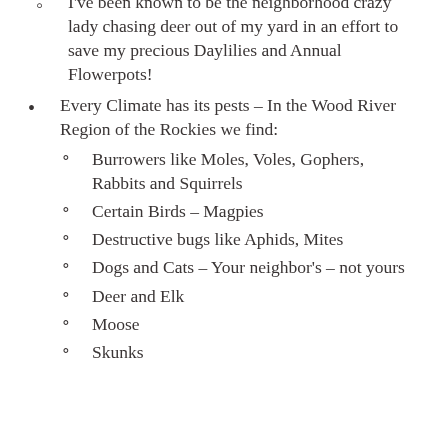I've been known to be the neighborhood crazy lady chasing deer out of my yard in an effort to save my precious Daylilies and Annual Flowerpots!
Every Climate has its pests – In the Wood River Region of the Rockies we find:
Burrowers like Moles, Voles, Gophers, Rabbits and Squirrels
Certain Birds – Magpies
Destructive bugs like Aphids, Mites
Dogs and Cats – Your neighbor's – not yours
Deer and Elk
Moose
Skunks